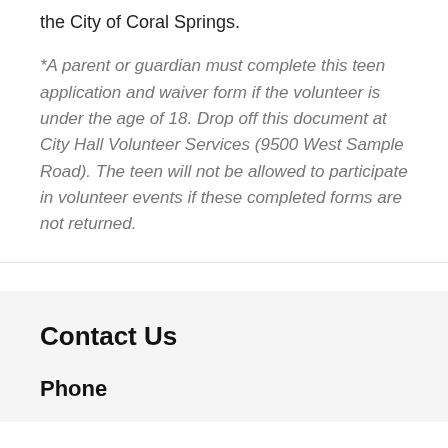the City of Coral Springs.
*A parent or guardian must complete this teen application and waiver form if the volunteer is under the age of 18. Drop off this document at City Hall Volunteer Services (9500 West Sample Road). The teen will not be allowed to participate in volunteer events if these completed forms are not returned.
Contact Us
Phone